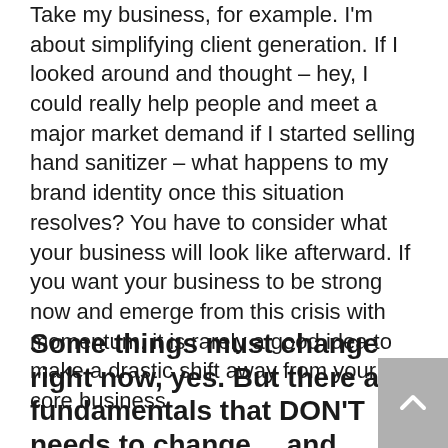Take my business, for example. I'm about simplifying client generation. If I looked around and thought – hey, I could really help people and meet a major market demand if I started selling hand sanitizer – what happens to my brand identity once this situation resolves? You have to consider what your business will look like afterward. If you want your business to be strong now and emerge from this crisis with momentum, it is rarely a good idea to make a drastic shift away from your core business.
Some things must change right now, yes. But there are fundamentals that DON'T needs to change… and